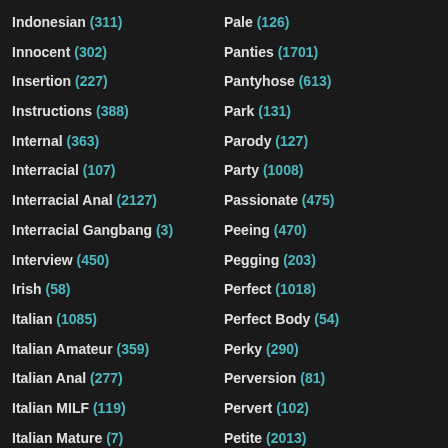Indonesian (311)
Innocent (302)
Insertion (227)
Instructions (388)
Internal (363)
Interracial (107)
Interracial Anal (2127)
Interracial Gangbang (3)
Interview (450)
Irish (58)
Italian (1085)
Italian Amateur (359)
Italian Anal (277)
Italian MILF (119)
Italian Mature (7)
Italian Mom (31)
Pale (126)
Panties (1701)
Pantyhose (613)
Park (131)
Parody (127)
Party (1008)
Passionate (475)
Peeing (470)
Pegging (203)
Perfect (1018)
Perfect Body (54)
Perky (290)
Perversion (81)
Pervert (102)
Petite (2013)
Phat Ass (422)